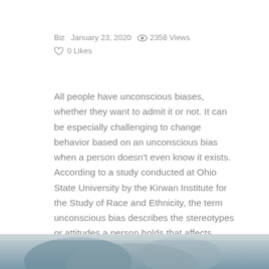Biz   January 23, 2020   👁 2358 Views
♡ 0 Likes
All people have unconscious biases, whether they want to admit it or not. It can be especially challenging to change behavior based on an unconscious bias when a person doesn't even know it exists. According to a study conducted at Ohio State University by the Kirwan Institute for the Study of Race and Ethnicity, the term unconscious bias describes the stereotypes or attitudes a person holds that affects decisions, actions, and understanding of others based on assumptions not known to them. Implicit social cognition is another name for this phenomenon.
[Figure (photo): Partial photo strip at the bottom of the page showing a blurred image, likely of people, in muted grey-blue tones.]